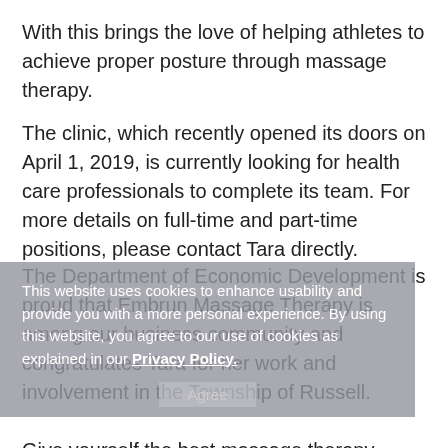With this brings the love of helping athletes to achieve proper posture through massage therapy.
The clinic, which recently opened its doors on April 1, 2019, is currently looking for health care professionals to complete its team. For more details on full-time and part-time positions, please contact Tara directly.
The Department of Economic Development is proud that Embrun Massage Therapy is among our business community and congratulates Tara for her work and involvement in the Township of Russell.
This website uses cookies to enhance usability and provide you with a more personal experience. By using this website, you agree to our use of cookies as explained in our Privacy Policy.
Give yourself the best massage therapy around by scheduling an appointment with Tara at 613-370-0056 or booking online at www.embrunmassagetherapy.com. The clinic hours are Monday from 9 am to 3 pm, Tuesday from